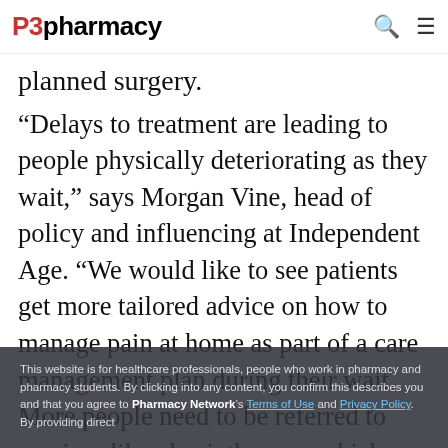P3pharmacy [logo] [search icon] [menu icon]
planned surgery.
“Delays to treatment are leading to people physically deteriorating as they wait,” says Morgan Vine, head of policy and influencing at Independent Age. “We would like to see patients get more tailored advice on how to manage pain at home as part of a care management plan during their wait. More people need to be referred to services like physiotherapy, which can help them manage their pain and keep their independence. We would also like to see more signposting to local and national services that can help those experiencing
This website is for healthcare professionals, people who work in pharmacy and pharmacy students. By clicking into any content, you confirm this describes you and that you agree to Pharmacy Network’s Terms of Use and Privacy Policy. By providing direct